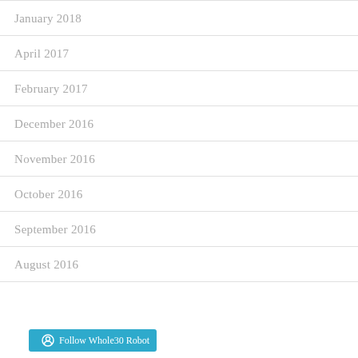January 2018
April 2017
February 2017
December 2016
November 2016
October 2016
September 2016
August 2016
[Figure (other): Follow Whole30 Robot button in teal/blue color]